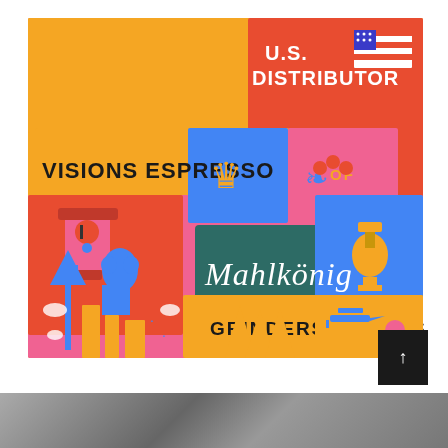[Figure (illustration): Colorful retro-style collage illustration promoting Visions Espresso as U.S. Distributor of Mahlkönig Grinders + Parts. Features coffee grinders, a crown, a bird, the Seattle Space Needle, pine trees, a biplane, a coffee cup, and American flag motifs on orange, pink, yellow, blue, and teal background panels.]
[Figure (photo): Black and white photo partially visible at the bottom of the page, showing a person.]